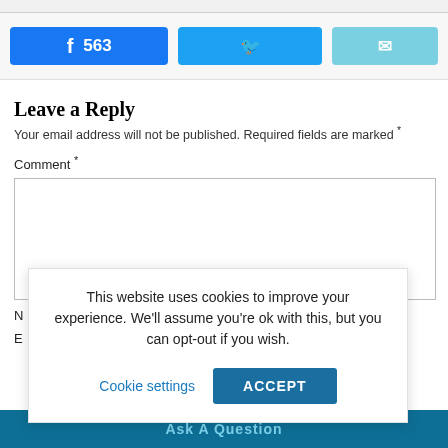[Figure (screenshot): Social share buttons: Facebook with count 563, Twitter, and Email]
Leave a Reply
Your email address will not be published. Required fields are marked *
Comment *
This website uses cookies to improve your experience. We'll assume you're ok with this, but you can opt-out if you wish.
Cookie settings  ACCEPT
N
E
Ask A Question